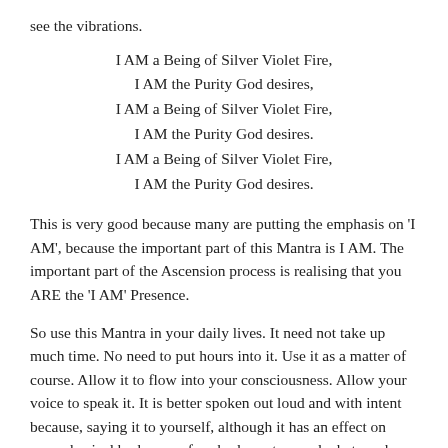see the vibrations.
I AM a Being of Silver Violet Fire,
I AM the Purity God desires,
I AM a Being of Silver Violet Fire,
I AM the Purity God desires.
I AM a Being of Silver Violet Fire,
I AM the Purity God desires.
This is very good because many are putting the emphasis on 'I AM', because the important part of this Mantra is I AM. The important part of the Ascension process is realising that you ARE the 'I AM' Presence.
So use this Mantra in your daily lives. It need not take up much time. No need to put hours into it. Use it as a matter of course. Allow it to flow into your consciousness. Allow your voice to speak it. It is better spoken out loud and with intent because, saying it to yourself, although it has an effect on your physical body, your four body system and what can be termed your Spiritual Body, you are not having an effect on everything that surrounds you. So when you think about how much Service you can do for creation just by chanting your